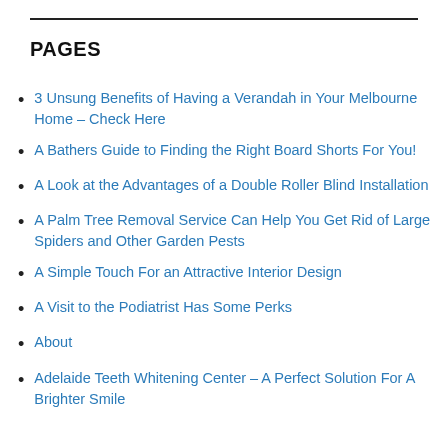PAGES
3 Unsung Benefits of Having a Verandah in Your Melbourne Home – Check Here
A Bathers Guide to Finding the Right Board Shorts For You!
A Look at the Advantages of a Double Roller Blind Installation
A Palm Tree Removal Service Can Help You Get Rid of Large Spiders and Other Garden Pests
A Simple Touch For an Attractive Interior Design
A Visit to the Podiatrist Has Some Perks
About
Adelaide Teeth Whitening Center – A Perfect Solution For A Brighter Smile